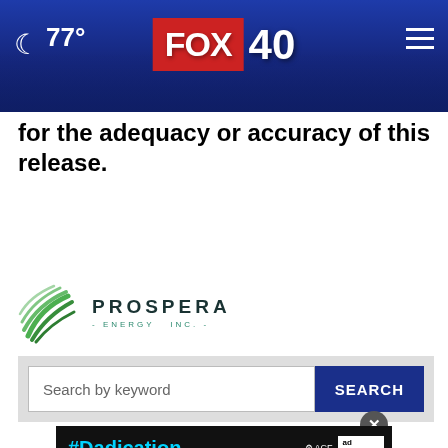FOX 40 — 77° weather header with navigation
for the adequacy or accuracy of this release.
[Figure (logo): Prospera Energy Inc. logo with green wave/leaf graphic and stylized company name]
Search by keyword
[Figure (infographic): #Dadication advertisement banner with ACF and Ad Council logos]